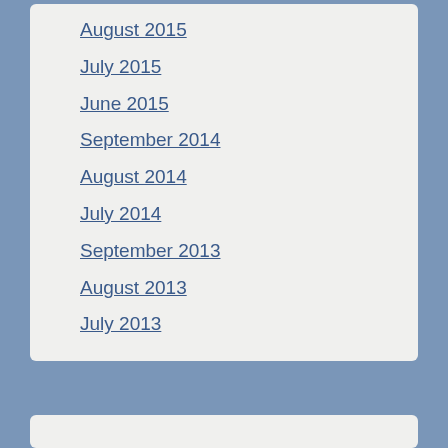August 2015
July 2015
June 2015
September 2014
August 2014
July 2014
September 2013
August 2013
July 2013